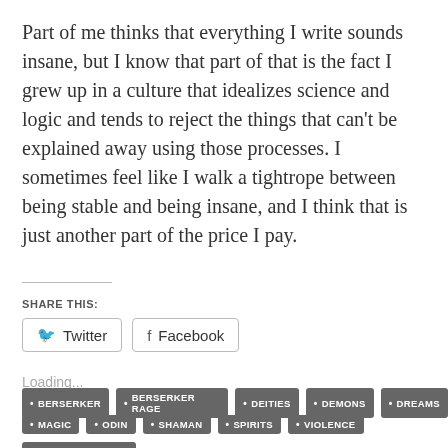Part of me thinks that everything I write sounds insane, but I know that part of that is the fact I grew up in a culture that idealizes science and logic and tends to reject the things that can't be explained away using those processes. I sometimes feel like I walk a tightrope between being stable and being insane, and I think that is just another part of the price I pay.
SHARE THIS:
Twitter
Facebook
Loading...
BERSERKER
BERSERKER RAGE
DEITIES
DEMONS
DREAMS
MAGIC
ODIN
SHAMAN
SPIRITS
VIOLENCE
VIOLENT DREAMS